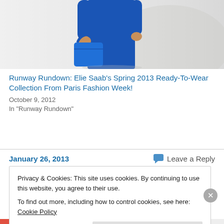[Figure (photo): Partial view of a model wearing a blue outfit (trousers, top) carrying a blue handbag, against a light background. Only the torso and legs are visible.]
Runway Rundown: Elie Saab's Spring 2013 Ready-To-Wear Collection From Paris Fashion Week!
October 9, 2012
In "Runway Rundown"
January 26, 2013
Leave a Reply
Privacy & Cookies: This site uses cookies. By continuing to use this website, you agree to their use.
To find out more, including how to control cookies, see here: Cookie Policy